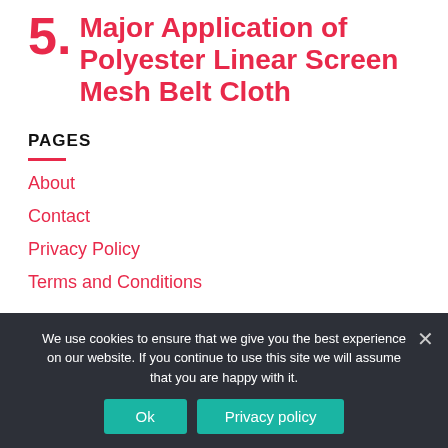5. Major Application of Polyester Linear Screen Mesh Belt Cloth
PAGES
About
Contact
Privacy Policy
Terms and Conditions
We use cookies to ensure that we give you the best experience on our website. If you continue to use this site we will assume that you are happy with it.
Ok
Privacy policy